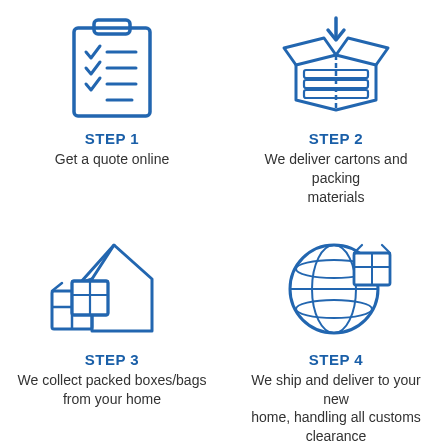[Figure (infographic): Step 1 icon: clipboard with checklist]
STEP 1
Get a quote online
[Figure (infographic): Step 2 icon: open box with packing materials]
STEP 2
We deliver cartons and packing materials
[Figure (infographic): Step 3 icon: boxes and house]
STEP 3
We collect packed boxes/bags from your home
[Figure (infographic): Step 4 icon: globe with box]
STEP 4
We ship and deliver to your new home, handling all customs clearance